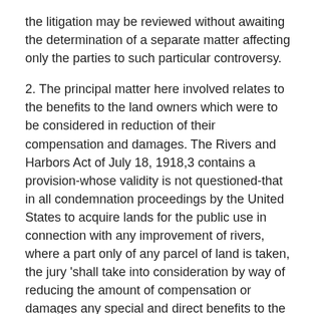the litigation may be reviewed without awaiting the determination of a separate matter affecting only the parties to such particular controversy.
2. The principal matter here involved relates to the benefits to the land owners which were to be considered in reduction of their compensation and damages. The Rivers and Harbors Act of July 18, 1918,3 contains a provision-whose validity is not questioned-that in all condemnation proceedings by the United States to acquire lands for the public use in connection with any improvement of rivers, where a part only of any parcel of land is taken, the jury 'shall take into consideration by way of reducing the amount of compensation or damages any special and direct benefits to the remainder arising from the improvement.' In each of the sixteen instances here involved the United States condemned only a portion of the parcel of land belonging to the riparian owner. It insists that there was error in the